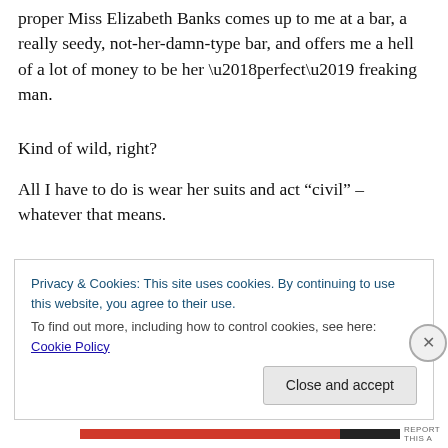proper Miss Elizabeth Banks comes up to me at a bar, a really seedy, not-her-damn-type bar, and offers me a hell of a lot of money to be her ‘perfect’ freaking man.
Kind of wild, right?
All I have to do is wear her suits and act “civil” – whatever that means.
Privacy & Cookies: This site uses cookies. By continuing to use this website, you agree to their use.
To find out more, including how to control cookies, see here: Cookie Policy